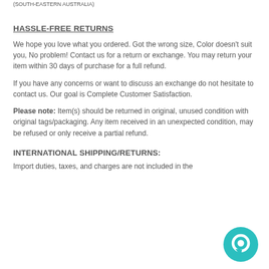(SOUTH-EASTERN AUSTRALIA)
HASSLE-FREE RETURNS
We hope you love what you ordered.  Got the wrong size, Color doesn't suit you, No problem!  Contact us for a return or exchange. You may return your item within 30 days of purchase for a full refund.
If you have any concerns or want to discuss an exchange do not hesitate to contact us.   Our goal is Complete Customer Satisfaction.
Please note:  Item(s) should be returned in original, unused condition with original tags/packaging. Any item received in an unexpected condition, may be refused or only receive a partial refund.
INTERNATIONAL SHIPPING/RETURNS:
Import duties, taxes, and charges are not included in the
[Figure (other): Teal circular chat button icon in the bottom right corner]